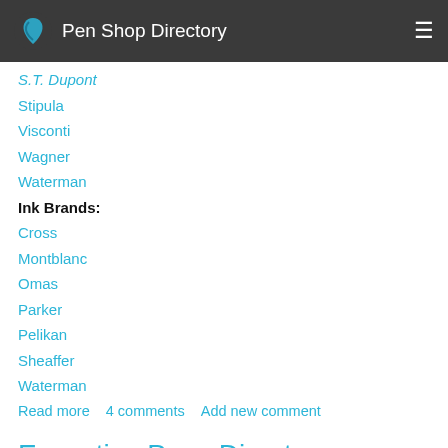Pen Shop Directory
S.T. Dupont
Stipula
Visconti
Wagner
Waterman
Ink Brands:
Cross
Montblanc
Omas
Parker
Pelikan
Sheaffer
Waterman
Read more   4 comments   Add new comment
Executive Pens Direct – Luxury Pen Shop
Submitted by Florentyna Brzecka on Mon, 10/06/2014 - 03:40